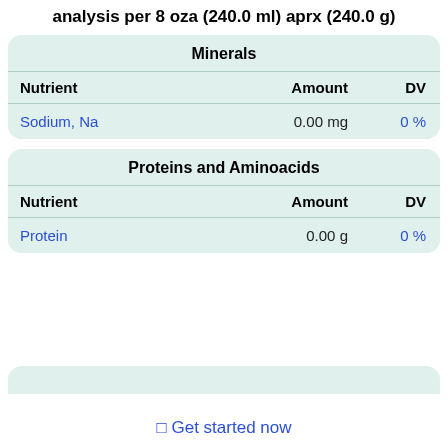analysis per 8 oza (240.0 ml) aprx (240.0 g)
| Nutrient | Amount | DV |
| --- | --- | --- |
| Sodium, Na | 0.00 mg | 0 % |
| Nutrient | Amount | DV |
| --- | --- | --- |
| Protein | 0.00 g | 0 % |
⊡ Get started now